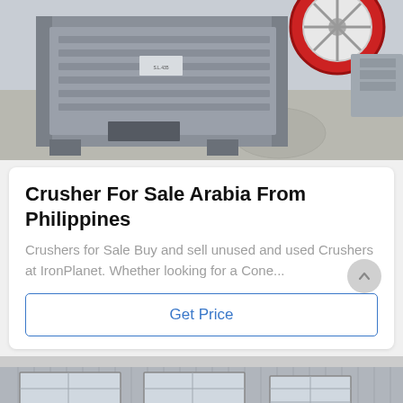[Figure (photo): Jaw crusher machine viewed from the side, showing grey metal body and red flywheel at top right, placed on a concrete floor outdoors.]
Crusher For Sale Arabia From Philippines
Crushers for Sale Buy and sell unused and used Crushers at IronPlanet. Whether looking for a Cone...
Get Price
[Figure (photo): Partial view of an industrial building facade with corrugated metal siding and multiple windows with grilles.]